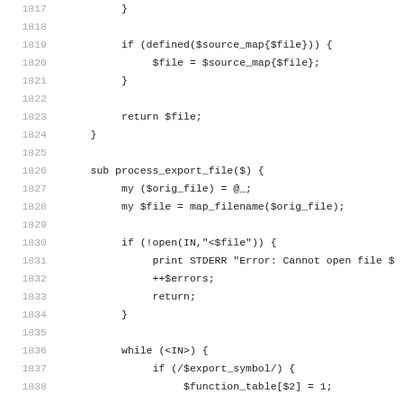Code listing lines 1817-1838, Perl source code showing map_filename and process_export_file subroutines